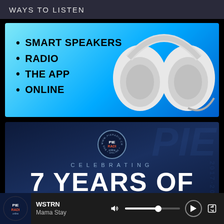WAYS TO LISTEN
[Figure (infographic): Radio listening methods advertisement banner with headphones image. Text lists: SMART SPEAKERS, RADIO, THE APP, ONLINE on a cyan-to-blue gradient background.]
[Figure (infographic): Pie Radio celebrating 7 years banner. Dark navy background with PIE RADIO circular logo, text CELEBRATING and 7 YEARS OF in large white bold font.]
WSTRN
Mama Stay